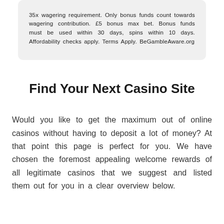35x wagering requirement. Only bonus funds count towards wagering contribution. £5 bonus max bet. Bonus funds must be used within 30 days, spins within 10 days. Affordability checks apply. Terms Apply. BeGambleAware.org
Find Your Next Casino Site
Would you like to get the maximum out of online casinos without having to deposit a lot of money? At that point this page is perfect for you. We have chosen the foremost appealing welcome rewards of all legitimate casinos that we suggest and listed them out for you in a clear overview below.